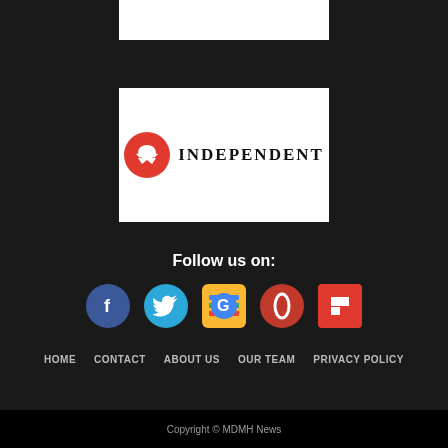[Figure (logo): Partially visible white rectangle at top (cropped image/logo)]
[Figure (logo): The Independent newspaper logo: red circle with white eagle and 'INDEPENDENT' text in black serif font on white background]
Follow us on:
[Figure (infographic): Row of social media icons: Facebook (blue circle, white f), Twitter (light blue circle, white bird), Google News (yellow/blue square, G icon), Opera (red circle, O), Flipboard (red square, white F)]
HOME   CONTACT   ABOUT US   OUR TEAM   PRIVACY POLICY
Copyright © MDMH News